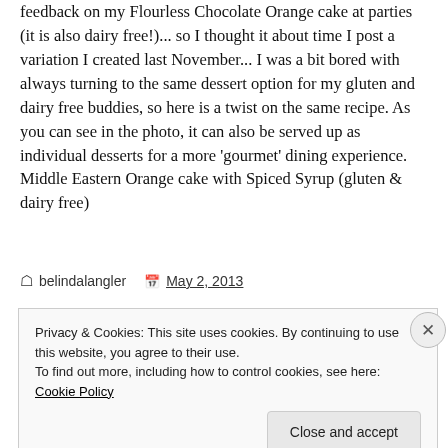feedback on my Flourless Chocolate Orange cake at parties (it is also dairy free!)... so I thought it about time I post a variation I created last November... I was a bit bored with always turning to the same dessert option for my gluten and dairy free buddies, so here is a twist on the same recipe. As you can see in the photo, it can also be served up as individual desserts for a more 'gourmet' dining experience. Middle Eastern Orange cake with Spiced Syrup (gluten & dairy free)
belindalangler   May 2, 2013
Privacy & Cookies: This site uses cookies. By continuing to use this website, you agree to their use.
To find out more, including how to control cookies, see here:
Cookie Policy

Close and accept